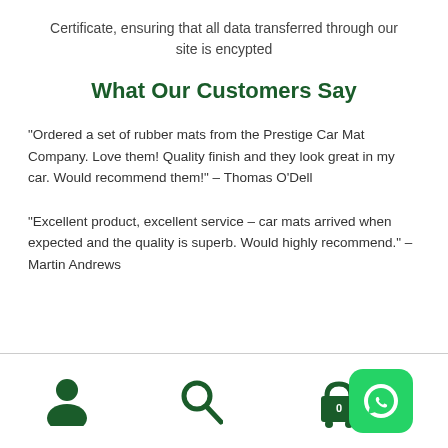Certificate, ensuring that all data transferred through our site is encypted
What Our Customers Say
“Ordered a set of rubber mats from the Prestige Car Mat Company. Love them! Quality finish and they look great in my car. Would recommend them!” – Thomas O’Dell
“Excellent product, excellent service – car mats arrived when expected and the quality is superb. Would highly recommend.” – Martin Andrews
Navigation icons: user, search, cart, WhatsApp